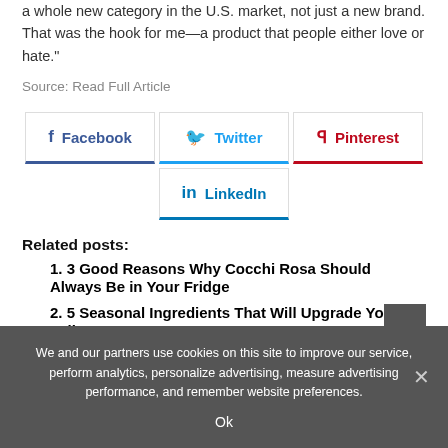a whole new category in the U.S. market, not just a new brand. That was the hook for me—a product that people either love or hate."
Source: Read Full Article
[Figure (infographic): Social sharing buttons for Facebook, Twitter, Pinterest, LinkedIn]
Related posts:
1. 3 Good Reasons Why Cocchi Rosa Should Always Be in Your Fridge
2. 5 Seasonal Ingredients That Will Upgrade Your Fall...
We and our partners use cookies on this site to improve our service, perform analytics, personalize advertising, measure advertising performance, and remember website preferences.
Ok